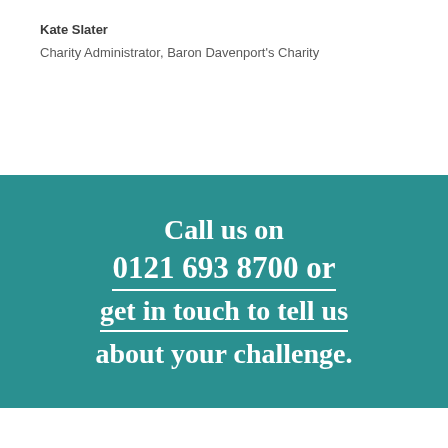Kate Slater
Charity Administrator, Baron Davenport's Charity
Call us on 0121 693 8700 or get in touch to tell us about your challenge.